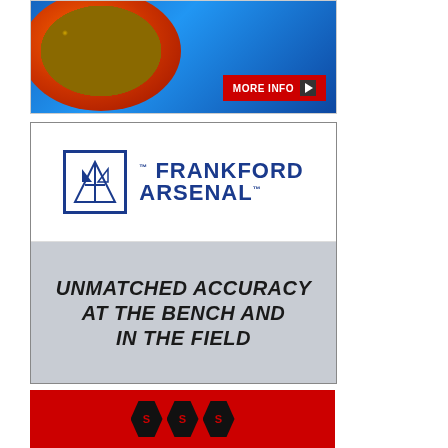[Figure (photo): Advertisement showing orange and black equipment bowl/tumbler with gold screws/brass inside, blue background, red MORE INFO button with play triangle]
[Figure (logo): Frankford Arsenal advertisement with blue logo on white background top half, and 'UNMATCHED ACCURACY AT THE BENCH AND IN THE FIELD' text on gray/blue background bottom half]
[Figure (logo): Red background advertisement with black hexagonal logo shapes at bottom, partially visible]